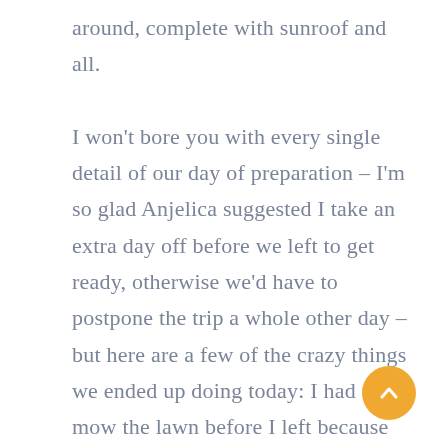around, complete with sunroof and all.

I won't bore you with every single detail of our day of preparation – I'm so glad Anjelica suggested I take an extra day off before we left to get ready, otherwise we'd have to postpone the trip a whole other day – but here are a few of the crazy things we ended up doing today: I had to mow the lawn before I left because there was no way I was coming back to a damn monte to cut, my lawnmower ain't that good and it will still be burning hot when we get back; Anjelica's phone wasn't working right so we had to race to T-Mobile before they closed to try